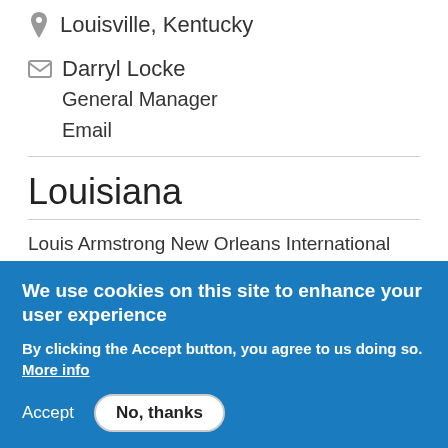Louisville, Kentucky
Darryl Locke
General Manager
Email
Louisiana
Louis Armstrong New Orleans International Airport (MSY)
We use cookies on this site to enhance your user experience
By clicking the Accept button, you agree to us doing so. More info
Accept
No, thanks